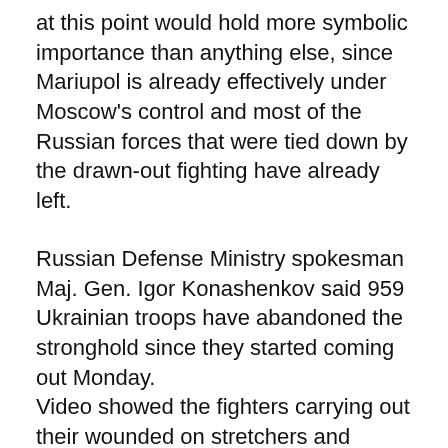at this point would hold more symbolic importance than anything else, since Mariupol is already effectively under Moscow's control and most of the Russian forces that were tied down by the drawn-out fighting have already left.
Russian Defense Ministry spokesman Maj. Gen. Igor Konashenkov said 959 Ukrainian troops have abandoned the stronghold since they started coming out Monday. Video showed the fighters carrying out their wounded on stretchers and undergoing pat-down searches before being taken away on buses escorted by military vehicles bearing the pro-Kremlin “Z” sign.